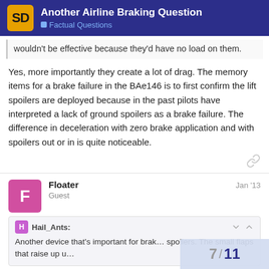Another Airline Braking Question — Factual Questions
wouldn't be effective because they'd have no load on them.
Yes, more importantly they create a lot of drag. The memory items for a brake failure in the BAe146 is to first confirm the lift spoilers are deployed because in the past pilots have interpreted a lack of ground spoilers as a brake failure. The difference in deceleration with zero brake application and with spoilers out or in is quite noticeable.
Floater — Jan '13
Guest
Hail_Ants:
Another device that's important for brak… spoilers. The small flaps that raise up u…